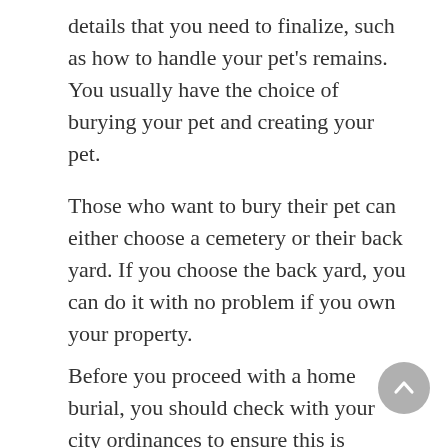details that you need to finalize, such as how to handle your pet's remains. You usually have the choice of burying your pet and creating your pet.
Those who want to bury their pet can either choose a cemetery or their back yard. If you choose the back yard, you can do it with no problem if you own your property.
Before you proceed with a home burial, you should check with your city ordinances to ensure this is allowed. However, keep in mind it can get really complicated if your pet was euthanized because the chemicals can